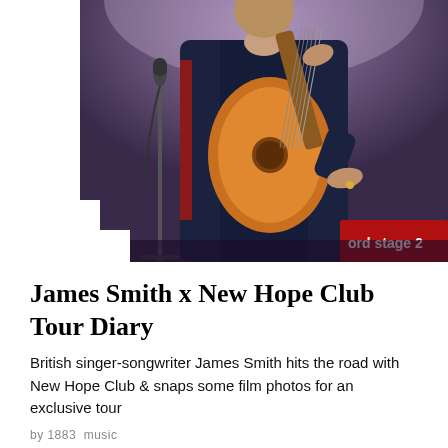[Figure (photo): A person playing an acoustic guitar on stage in front of a microphone stand, wearing a navy blue jacket with red stripe detail. Stage lighting creates a purple/blue atmosphere. A red keyboard or equipment is visible in the lower right with text reading 'ord stage 2'.]
James Smith x New Hope Club Tour Diary
British singer-songwriter James Smith hits the road with New Hope Club & snaps some film photos for an exclusive tour
by 1883  music